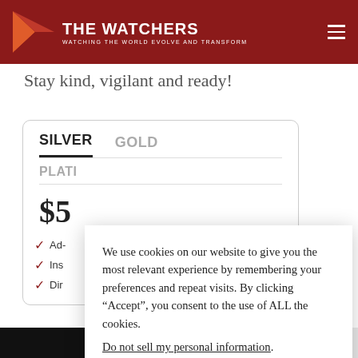THE WATCHERS — WATCHING THE WORLD EVOLVE AND TRANSFORM
Stay kind, vigilant and ready!
SILVER | GOLD | PLATI...
$5...
Ad-
Ins
Dir
We use cookies on our website to give you the most relevant experience by remembering your preferences and repeat visits. By clicking "Accept", you consent to the use of ALL the cookies. Do not sell my personal information.